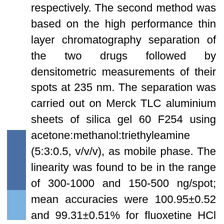respectively. The second method was based on the high performance thin layer chromatography separation of the two drugs followed by densitometric measurements of their spots at 235 nm. The separation was carried out on Merck TLC aluminium sheets of silica gel 60 F254 using acetone:methanol:triethyleamine (5:3:0.5, v/v/v), as mobile phase. The linearity was found to be in the range of 300-1000 and 150-500 ng/spot; mean accuracies were 100.95±0.52 and 99.31±0.51% for fluoxetine HCl and olanzapine, respectively. The method was successively applied to tablets because no chromatographic interferences from the tablet excipients were found. The methods retained their accuracy and precision when the standard addition technique was applied. The results obtained by